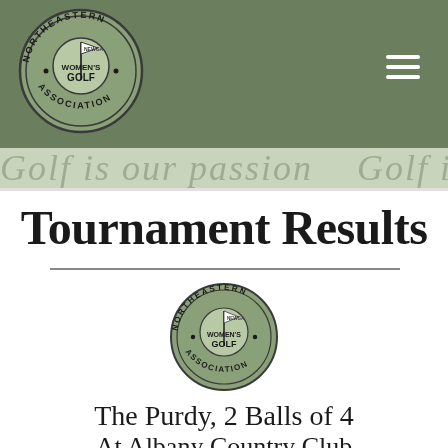[Figure (logo): Northeastern Women's Golf Association (NEWGA) circular logo in top-left header]
[Figure (logo): Hamburger menu icon (three horizontal white lines) in top-right of header]
[Figure (illustration): Watermark band with italic text 'Golf is our passion' repeated]
Tournament Results
[Figure (logo): Northeastern Women's Golf Association (NEWGA) circular logo centered below divider]
The Purdy, 2 Balls of 4
At Albany Country Club